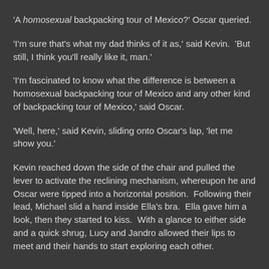'A homosexual backpacking tour of Mexico?' Oscar queried.
'I'm sure that's what my dad thinks of it as,' said Kevin.  'But still, I think you'll really like it, man.'
'I'm fascinated to know what the difference is between a homosexual backpacking tour of Mexico and any other kind of backpacking tour of Mexico,' said Oscar.
'Well, here,' said Kevin, sliding onto Oscar's lap, 'let me show you.'
Kevin reached down the side of the chair and pulled the lever to activate the reclining mechanism, whereupon he and Oscar were tipped into a horizontal position.  Following their lead, Michael slid a hand inside Ella's bra.  Ella gave him a look, then they started to kiss.  With a glance to either side and a quick shrug, Lucy and Jandro allowed their lips to meet and their hands to start exploring each other.